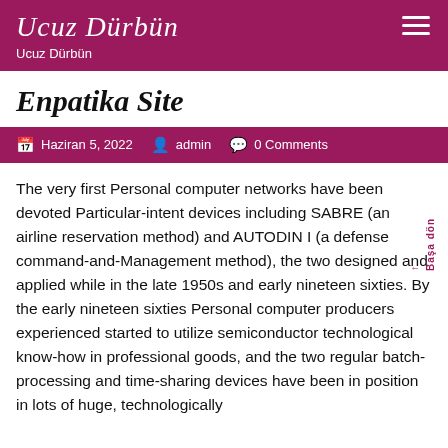Ucuz Dürbün
Ucuz Dürbün
Enpatika Site
Haziran 5, 2022   admin   0 Comments
The very first Personal computer networks have been devoted Particular-intent devices including SABRE (an airline reservation method) and AUTODIN I (a defense command-and-Management method), the two designed and applied while in the late 1950s and early nineteen sixties. By the early nineteen sixties Personal computer producers experienced started to utilize semiconductor technological know-how in professional goods, and the two regular batch-processing and time-sharing devices have been in position in lots of huge, technologically